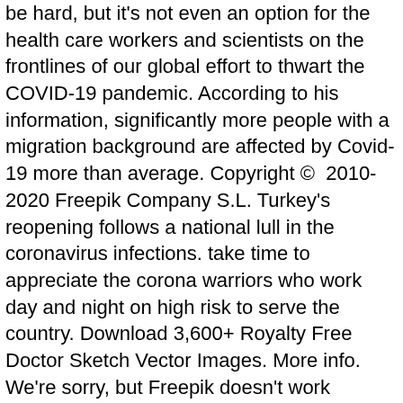be hard, but it's not even an option for the health care workers and scientists on the frontlines of our global effort to thwart the COVID-19 pandemic. According to his information, significantly more people with a migration background are affected by Covid-19 more than average. Copyright © 2010-2020 Freepik Company S.L. Turkey's reopening follows a national lull in the coronavirus infections. take time to appreciate the corona warriors who work day and night on high risk to serve the country. Download 3,600+ Royalty Free Doctor Sketch Vector Images. More info. We're sorry, but Freepik doesn't work properly without JavaScript enabled. Draw the hands. And on the morning of Feb. 7, the good doctor died sacrificing his life for those who were infected with the virus. If you do not have a relationship with a primary care doctor, call your local health department. Flat vector illustration. Doctors and health professionals are slamming President Donald Trump and his White House advisors for continuing to push a conspiracy theory that … ProfilePoints ™ measure the overall completeness of a provider's profile, including items like having a photo and biography among other contributing criteria. The...